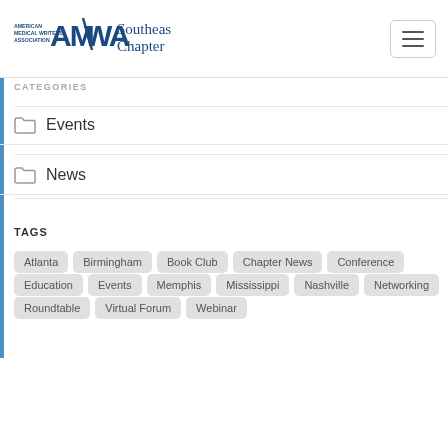[Figure (logo): American Medical Writers Association Southeast Chapter logo with AMWA letters and blue text]
CATEGORIES
Events
News
TAGS
Atlanta
Birmingham
Book Club
Chapter News
Conference
Education
Events
Memphis
Mississippi
Nashville
Networking
Roundtable
Virtual Forum
Webinar